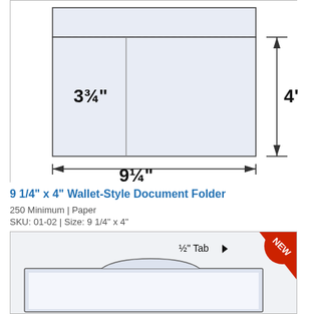[Figure (engineering-diagram): Technical diagram of a 9 1/4 inch x 4 inch wallet-style document folder showing dimensions: 3 3/4 inch interior width label, 9 1/4 inch total width with arrows, and 4 inch height with arrows. The folder has a flap at top with dashed fold line.]
9 1/4" x 4" Wallet-Style Document Folder
250 Minimum | Paper
SKU: 01-02 | Size: 9 1/4" x 4"
[Figure (engineering-diagram): Diagram of a wallet-style folder showing a 1/2 inch tab at top right with a NEW badge ribbon in red. The folder body is shown in light blue/white.]